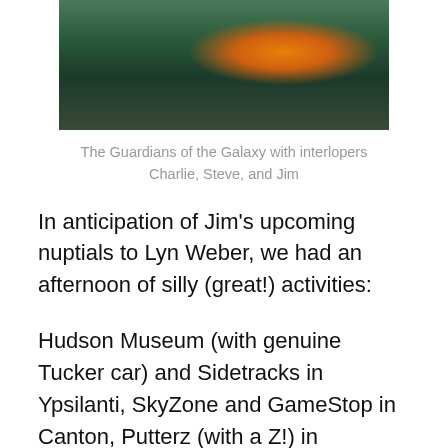[Figure (photo): Group photo of people posing in front of a Guardians of the Galaxy movie poster/display]
The Guardians of the Galaxy with interlopers Charlie, Steve, and Jim
In anticipation of Jim's upcoming nuptials to Lyn Weber, we had an afternoon of silly (great!) activities:
Hudson Museum (with genuine Tucker car) and Sidetracks in Ypsilanti, SkyZone and GameStop in Canton, Putterz (with a Z!) in Ypsilanti, and Carlyle Grill and, yes, Edge of Tomorrow in Ann Arbor.